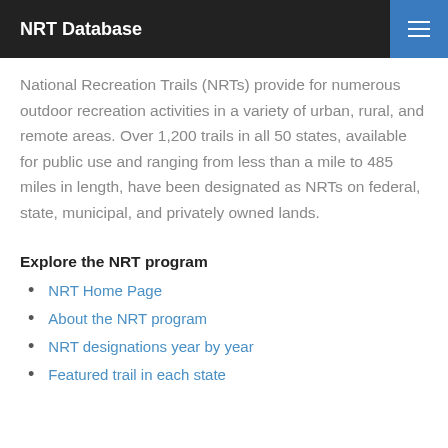NRT Database
National Recreation Trails (NRTs) provide for numerous outdoor recreation activities in a variety of urban, rural, and remote areas. Over 1,200 trails in all 50 states, available for public use and ranging from less than a mile to 485 miles in length, have been designated as NRTs on federal, state, municipal, and privately owned lands.
Explore the NRT program
NRT Home Page
About the NRT program
NRT designations year by year
Featured trail in each state